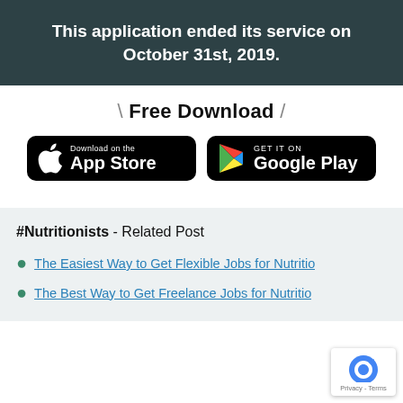This application ended its service on October 31st, 2019.
\ Free Download /
[Figure (illustration): App Store download badge (black, Apple logo, 'Download on the App Store')]
[Figure (illustration): Google Play download badge (black, Play logo, 'GET IT ON Google Play')]
#Nutritionists - Related Post
The Easiest Way to Get Flexible Jobs for Nutritio...
The Best Way to Get Freelance Jobs for Nutritio...